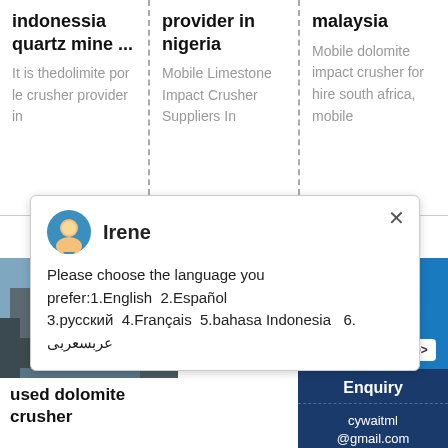indonessia quartz mine ...
It is thedolimite por le crusher provider in
provider in nigeria
Mobile Limestone Impact Crusher Suppliers In
malaysia
Mobile dolomite impact crusher for hire south africa, mobile
[Figure (screenshot): Chat popup with avatar of Irene showing language selection message]
[Figure (photo): Industrial/mining facility with machinery and structures]
used dolomite crusher
[Figure (screenshot): Chat widget with smiley face avatar, badge showing 1 unread, Click me to chat button]
Enquiry
cywaitml @gmail.com